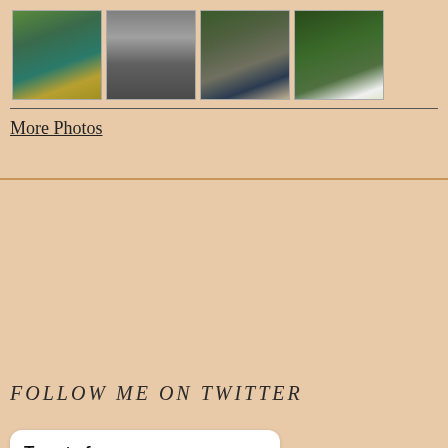[Figure (photo): Four thumbnail photos in a horizontal strip: nature scene with water and reeds, black and white photo of reeds/grass, motorway with traffic and a blue truck, green plant with white flower]
More Photos
FOLLOW ME ON TWITTER
[Figure (screenshot): Twitter widget card. Header: 'Tweets from @sjroth21'. Tweet by Stephani... @sj... · 16m with bird logo. Avatar shows a white parrot/cockatoo. Tweet text: 'The Almanac - A Seasonal Guide to 2023 by Lia']